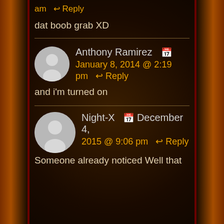am ↩ Reply
dat boob grab XD
Anthony Ramirez 📅 January 8, 2014 @ 2:19 pm ↩ Reply
and i'm turned on
Night-X 📅 December 4, 2015 @ 9:06 pm ↩ Reply
Someone already noticed Well that